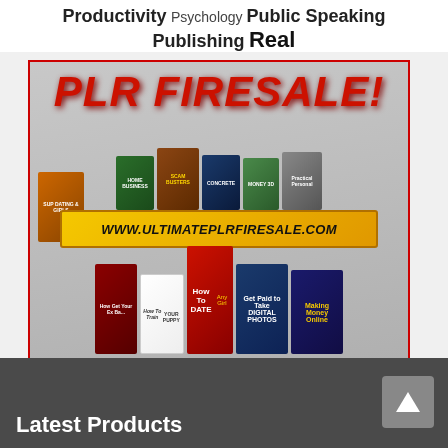Productivity Psychology Public Speaking Publishing Real
[Figure (illustration): PLR Firesale promotional image showing a collection of ebook covers including 'How To Train Your Puppy', 'How To Date Any Girl', 'Get Paid to Take Digital Photos', 'Making Money Online', and others, with a yellow banner showing www.ultimateplrfiresale.com]
Latest Products